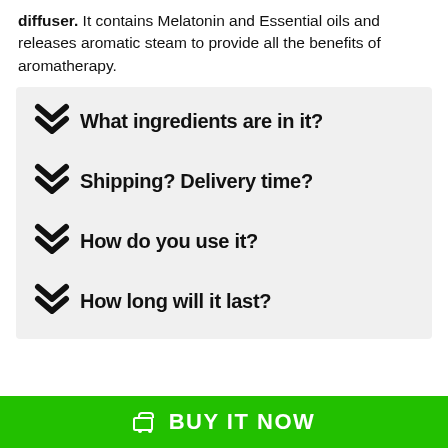diffuser. It contains Melatonin and Essential oils and releases aromatic steam to provide all the benefits of aromatherapy.
What ingredients are in it?
Shipping? Delivery time?
How do you use it?
How long will it last?
BUY IT NOW